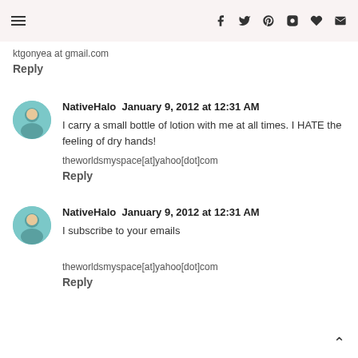Navigation and social icons header
ktgonyea at gmail.com
Reply
NativeHalo  January 9, 2012 at 12:31 AM
I carry a small bottle of lotion with me at all times. I HATE the feeling of dry hands!
theworldsmyspace[at]yahoo[dot]com
Reply
NativeHalo  January 9, 2012 at 12:31 AM
I subscribe to your emails
theworldsmyspace[at]yahoo[dot]com
Reply